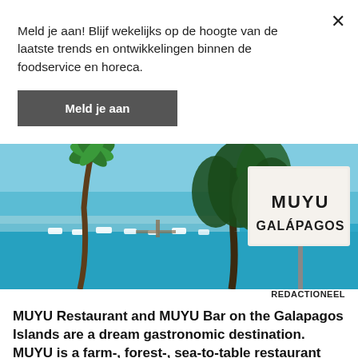Meld je aan! Blijf wekelijks op de hoogte van de laatste trends en ontwikkelingen binnen de foodservice en horeca.
Meld je aan
[Figure (photo): Tropical beach scene with palm trees, turquoise water with boats, and a sign reading MUYU GALAPAGOS]
REDACTIONEEL
MUYU Restaurant and MUYU Bar on the Galapagos Islands are a dream gastronomic destination. MUYU is a farm-, forest-, sea-to-table restaurant that celebrates the natural and cultural diversity of Galapagos. Food Inspiration interviewed chef-